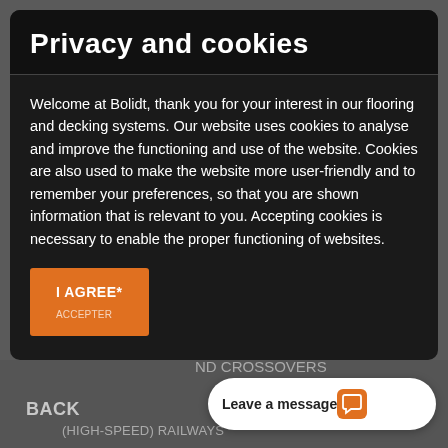Privacy and cookies
Welcome at Bolidt, thank you for your interest in our flooring and decking systems. Our website uses cookies to analyse and improve the functioning and use of the website. Cookies are also used to make the website more user-friendly and to remember your preferences, so that you are shown information that is relevant to you. Accepting cookies is necessary to enable the proper functioning of websites.
I AGREE*
*) By clicking "I agree", you agree to our General Terms and Conditions, our Disclaimer and our Privacy and Cookie Statement.
BACK
ND CROSSOVERS
(HIGH-SPEED) RAILWAYS
Leave a message